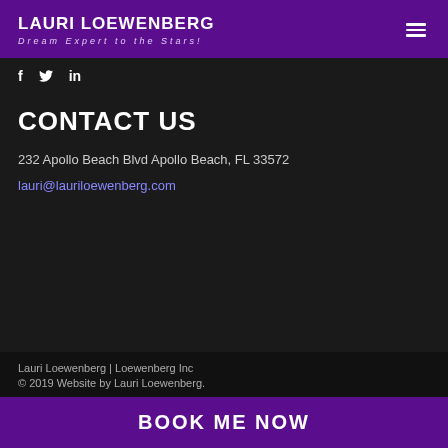LAURI LOEWENBERG Dream Expert to the Stars!
[Figure (other): Social media icons: Facebook (f), Twitter (bird), LinkedIn (in)]
CONTACT US
232 Apollo Beach Blvd Apollo Beach, FL 33572
lauri@lauriloewenberg.com
Lauri Loewenberg | Loewenberg Inc © 2019 Website by Lauri Loewenberg.
BOOK ME NOW